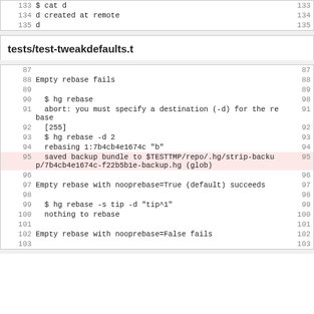| line | content | line_right |
| --- | --- | --- |
| 133 | $ cat d | 133 |
| 134 | d created at remote | 134 |
| 135 | d | 135 |
tests/test-tweakdefaults.t
| line | content | line_right |
| --- | --- | --- |
| 87 |  | 87 |
| 88 | Empty rebase fails | 88 |
| 89 |  | 89 |
| 90 |   $ hg rebase | 98 |
| 91 |   abort: you must specify a destination (-d) for the rebase | 91 |
| 92 |   [255] | 92 |
| 93 |   $ hg rebase -d 2 | 93 |
| 94 |   rebasing 1:7b4cb4e1674c "b" | 94 |
| 95 |   saved backup bundle to $TESTTMP/repo/.hg/strip-backup/7b4cb4e1674c-f22b5b1e-backup.hg (glob) | 95 |
| 96 |  | 96 |
| 97 | Empty rebase with nooprebase=True (default) succeeds | 97 |
| 98 |  | 98 |
| 99 |   $ hg rebase -s tip -d "tip^1" | 99 |
| 100 |   nothing to rebase | 100 |
| 101 |  | 101 |
| 102 | Empty rebase with nooprebase=False fails | 102 |
| 103 |  | 103 |